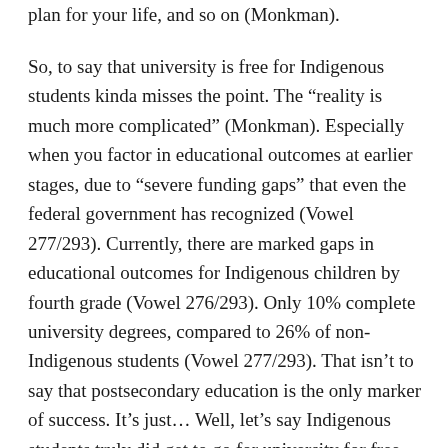plan for your life, and so on (Monkman).
So, to say that university is free for Indigenous students kinda misses the point. The “reality is much more complicated” (Monkman). Especially when you factor in educational outcomes at earlier stages, due to “severe funding gaps” that even the federal government has recognized (Vowel 277/293). Currently, there are marked gaps in educational outcomes for Indigenous children by fourth grade (Vowel 276/293). Only 10% complete university degrees, compared to 26% of non-Indigenous students (Vowel 277/293). That isn’t to say that postsecondary education is the only marker of success. It’s just… Well, let’s say Indigenous students truly did get to go for university for free (this is clearly a vast over-generalization). Even if that were true, it would be pretty obvious that this incentive isn’t doing much good.